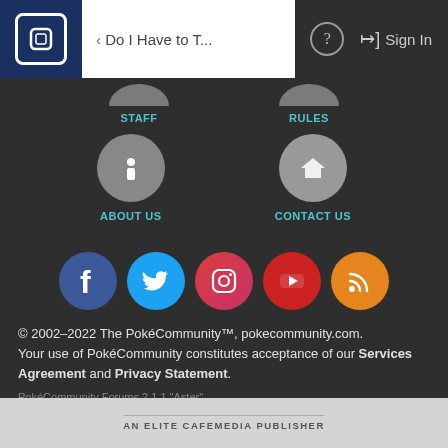Do I Have to T... | Sign In
[Figure (screenshot): Navigation icons: STAFF, RULES, ABOUT US, CONTACT US with circular grey icons]
[Figure (infographic): Social media icons: Facebook (blue), Twitter (light blue), Instagram (red-gradient), YouTube (red), RSS (orange)]
© 2002–2022 The PokéCommunity™, pokecommunity.com. Your use of PokéCommunity constitutes acceptance of our Services Agreement and Privacy Statement.
PokéCommunity Forums 2.1.1 "Aster"
Acknowledgements
AN ELITE CAFEMEDIA PUBLISHER